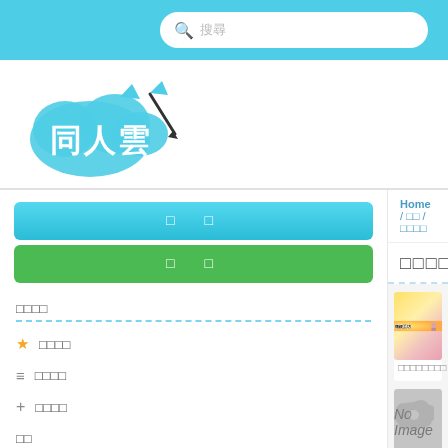同人雲 website header with search bar
[Figure (logo): 同人雲 logo - cloud shape with Chinese characters 同人雲 and a pen/brush icon]
[Figure (screenshot): Search bar with placeholder text 搜尋]
□□ □□
□□ □□
□□□□
★ □□□□
≡ □□□□
+ □□□□
□□
≡ □□□□
⊞ □□□□
Home / □□ / □□□□
□□□□
[Figure (illustration): 痛銃工坊 banner image with anime character and stylized text]
□□□□□□□□
[Figure (photo): No Image placeholder box]
□□□□□□□□□□
[Figure (photo): No Image placeholder box with 呼叫小精靈！popup bubble]